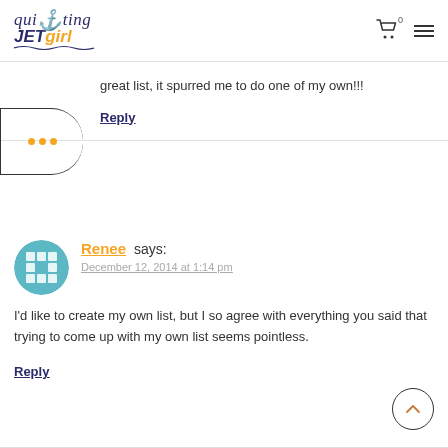quilting JETgirl
great list, it spurred me to do one of my own!!!
Reply
Renee says:
December 12, 2014 at 1:14 pm
I’d like to create my own list, but I so agree with everything you said that trying to come up with my own list seems pointless.
Reply